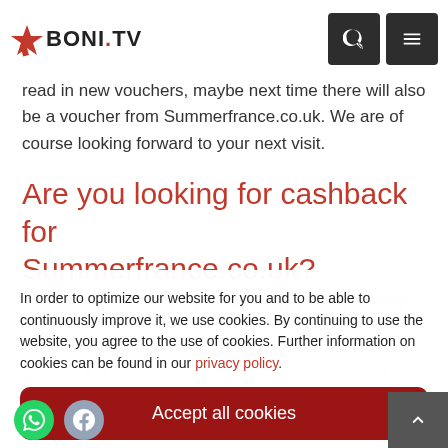BONI.TV
read in new vouchers, maybe next time there will also be a voucher from Summerfrance.co.uk. We are of course looking forward to your next visit.
Are you looking for cashback for Summerfrance.co.uk?
In order to optimize our website for you and to be able to continuously improve it, we use cookies. By continuing to use the website, you agree to the use of cookies. Further information on cookies can be found in our privacy policy.
Accept all cookies
Cookie settings
Confirm necessary cookies